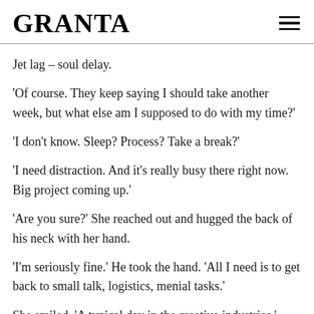GRANTA
Jet lag – soul delay.
'Of course. They keep saying I should take another week, but what else am I supposed to do with my time?'
'I don't know. Sleep? Process? Take a break?'
'I need distraction. And it's really busy there right now. Big project coming up.'
'Are you sure?' She reached out and hugged the back of his neck with her hand.
'I'm seriously fine.' He took the hand. 'All I need is to get back to small talk, logistics, menial tasks.'
She smiled. 'A typical day in the creative industries.'